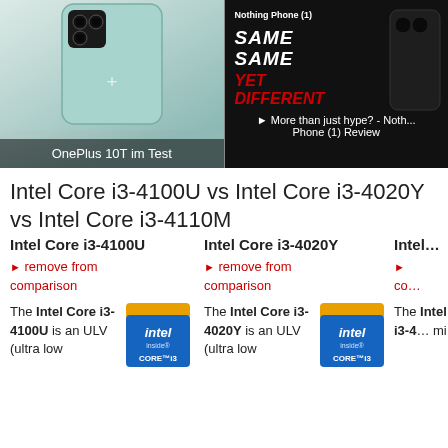[Figure (photo): OnePlus 10T phone shown from the back, teal/green color, with camera module visible. Caption reads 'OnePlus 10T im Test']
[Figure (screenshot): Video thumbnail for Nothing Phone (1) review with text 'SAME SAME YET DIFFERENT' and caption 'More than just hype? - Nothing Phone (1) Review']
Intel Core i3-4100U vs Intel Core i3-4020Y vs Intel Core i3-4110M
Intel Core i3-4100U
► remove from comparison
The Intel Core i3-4100U is an ULV (ultra low
[Figure (logo): Intel Core i3 inside badge logo]
Intel Core i3-4020Y
► remove from comparison
The Intel Core i3-4020Y is an ULV (ultra low
[Figure (logo): Intel Core i3 inside badge logo]
Intel Core i3-4110M
► remove from comparison
The Intel Core i3-4110M is a mi